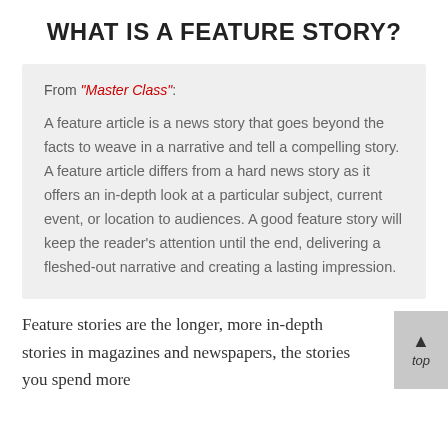WHAT IS A FEATURE STORY?
From "Master Class": A feature article is a news story that goes beyond the facts to weave in a narrative and tell a compelling story. A feature article differs from a hard news story as it offers an in-depth look at a particular subject, current event, or location to audiences. A good feature story will keep the reader's attention until the end, delivering a fleshed-out narrative and creating a lasting impression.
Feature stories are the longer, more in-depth stories in magazines and newspapers, the stories you spend more